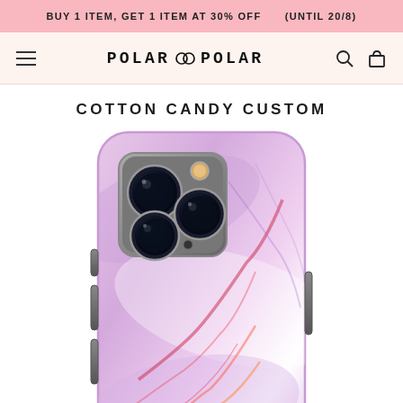BUY 1 ITEM, GET 1 ITEM AT 30% OFF    (UNTIL 20/8)
POLAR ∞ POLAR
COTTON CANDY CUSTOM
[Figure (photo): iPhone 14 Pro Max phone case with cotton candy marble pattern — swirling pink, lavender, and white with red and orange veins, showing the triple camera cutout on the back.]